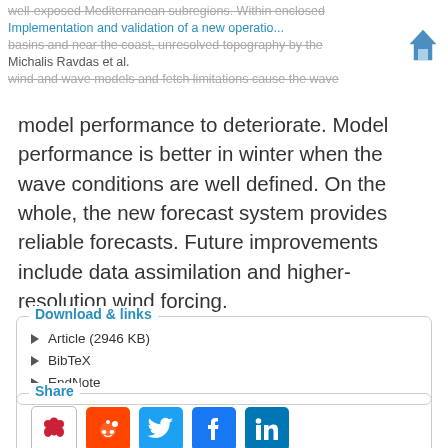well-exposed Mediterranean subregions. Within enclosed basins and near the coast, unresolved topography by the wind and wave models and fetch limitations cause the wave
Implementation and validation of a new operatio...
Michalis Ravdas et al.
model performance to deteriorate. Model performance is better in winter when the wave conditions are well defined. On the whole, the new forecast system provides reliable forecasts. Future improvements include data assimilation and higher-resolution wind forcing.
Download & links
Article (2946 KB)
BibTeX
EndNote
Share